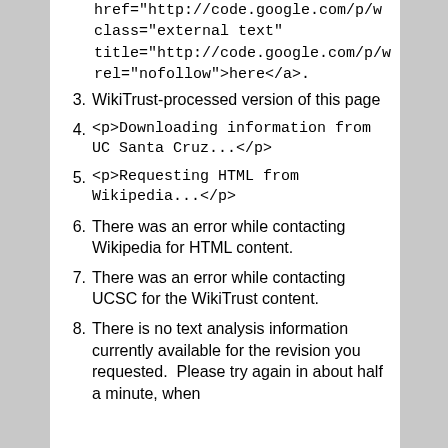href="http://code.google.com/p/w class="external text" title="http://code.google.com/p/w rel="nofollow">here</a>.
3. WikiTrust-processed version of this page
4. <p>Downloading information from UC Santa Cruz...</p>
5. <p>Requesting HTML from Wikipedia...</p>
6. There was an error while contacting Wikipedia for HTML content.
7. There was an error while contacting UCSC for the WikiTrust content.
8. There is no text analysis information currently available for the revision you requested.  Please try again in about half a minute, when the...